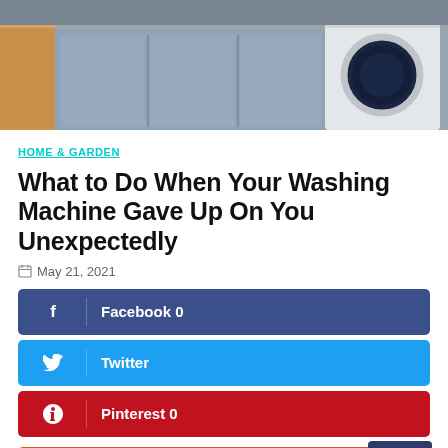[Figure (photo): Laundry room with a white front-loading washing machine and light blue cabinet panels]
HOME & GARDEN
What to Do When Your Washing Machine Gave Up On You Unexpectedly
May 21, 2021
Facebook 0
Twitter
Pinterest 0
reddit